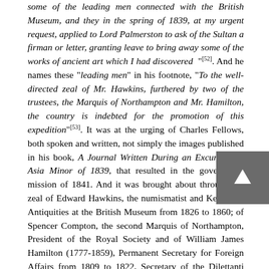some of the leading men connected with the British Museum, and they in the spring of 1839, at my urgent request, applied to Lord Palmerston to ask of the Sultan a firman or letter, granting leave to bring away some of the works of ancient art which I had discovered "[52]. And he names these "leading men" in his footnote, "To the well-directed zeal of Mr. Hawkins, furthered by two of the trustees, the Marquis of Northampton and Mr. Hamilton, the country is indebted for the promotion of this expedition"[53]. It was at the urging of Charles Fellows, both spoken and written, not simply the images published in his book, A Journal Written During an Excursion in Asia Minor of 1839, that resulted in the government mission of 1841. And it was brought about through the zeal of Edward Hawkins, the numismatist and Keeper of Antiquities at the British Museum from 1826 to 1860; of Spencer Compton, the second Marquis of Northampton, President of the Royal Society and of William James Hamilton (1777-1859), Permanent Secretary for Foreign Affairs from 1809 to 1822, Secretary of the Dilettanti Society from 1830-1859 and elected a Trustee of the British Museum in 1839[54]; and Henry